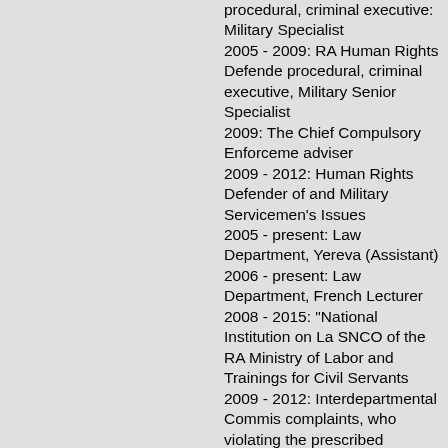procedural, criminal executive: Military Specialist
2005 - 2009: RA Human Rights Defender procedural, criminal executive, Military Senior Specialist
2009: The Chief Compulsory Enforcement adviser
2009 - 2012: Human Rights Defender of and Military Servicemen's Issues
2005 - present: Law Department, Yerevan (Assistant)
2006 - present: Law Department, French Lecturer
2008 - 2015: "National Institution on La SNCO of the RA Ministry of Labor and Trainings for Civil Servants
2009 - 2012: Interdepartmental Commission complaints, who violating the prescribed compulsory military service: Member
2010 - 2012: Independent Commission o RA on the issues of the earlier condition punishment,replacing not served term of one: Member
2012 - 2015: The School of Advocates o
2013 - 2014: The Head of the Judicial D
2014 - 2015: The Department for Organi the Judicial Department of the RA: Head
2015 - present: The Department of Lega Department of the RA: Head of Departm